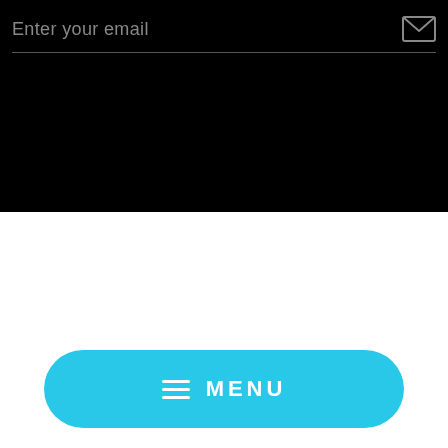[Figure (screenshot): Black header bar with email input field placeholder text 'Enter your email' and an envelope icon on the right, with a horizontal underline separator below]
Privacy Policy   Returns & Refunds   Shipping
Terms of Service   Search
Email: support@nuprintz.com | Phone #: (651) 447-7411
© 2022 nuprintz
≡  MENU